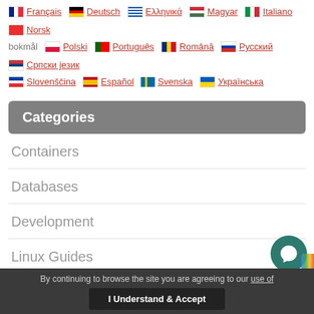Français Deutsch Ελληνικά Magyar Italiano Norsk bokmål Polski Português Română Русский Српски језик Slovenščina Español Svenska Українська
Categories
Containers
Databases
Development
Linux Guides
Monitoring
Networking
By continuing to browse the site you are agreeing to our use of cookies. I Understand & Accept